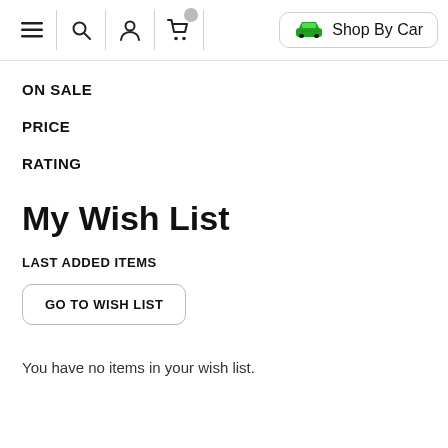Menu | Search | Account | Cart | Shop By Car
ON SALE
PRICE
RATING
My Wish List
LAST ADDED ITEMS
GO TO WISH LIST
You have no items in your wish list.